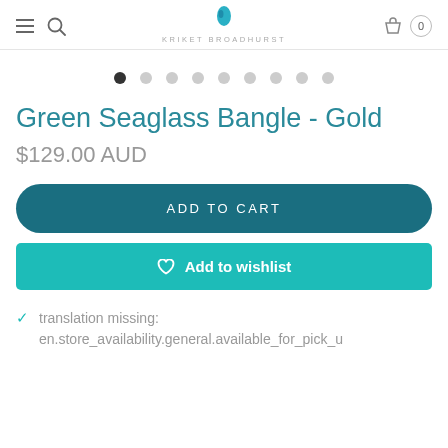KRIKET BROADHURST
[Figure (other): Carousel dot indicators, 9 dots, first dot active (dark), rest light grey]
Green Seaglass Bangle - Gold
$129.00 AUD
ADD TO CART
Add to wishlist
translation missing: en.store_availability.general.available_for_pick_u